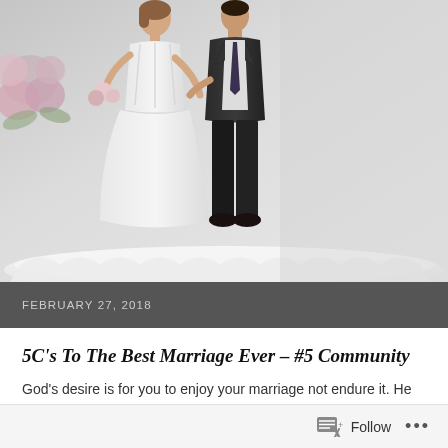[Figure (photo): Wedding cake topper figurines of a bride and groom on a white cake base, with pink flowers visible on the left side. Photographed against a light gray background.]
FEBRUARY 27, 2018
5C's To The Best Marriage Ever – #5 Community
God's desire is for you to enjoy your marriage not endure it. He wants your marriage to excel. It is designed for his glory and your joy. While it may not always be it…